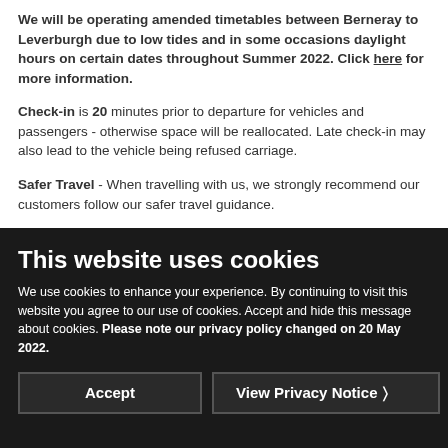We will be operating amended timetables between Berneray to Leverburgh due to low tides and in some occasions daylight hours on certain dates throughout Summer 2022. Click here for more information.
Check-in is 20 minutes prior to departure for vehicles and passengers - otherwise space will be reallocated. Late check-in may also lead to the vehicle being refused carriage.
Safer Travel - When travelling with us, we strongly recommend our customers follow our safer travel guidance.
This website uses cookies
We use cookies to enhance your experience. By continuing to visit this website you agree to our use of cookies. Accept and hide this message about cookies. Please note our privacy policy changed on 20 May 2022.
Accept
View Privacy Notice >